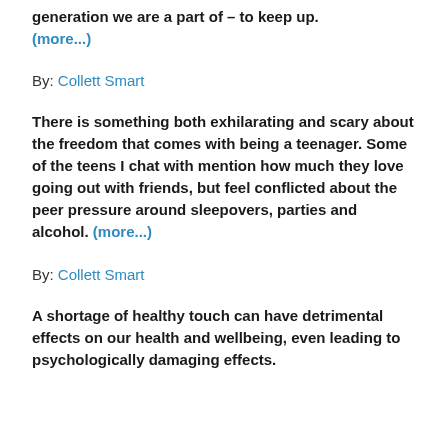generation we are a part of – to keep up. (more...)
By: Collett Smart
There is something both exhilarating and scary about the freedom that comes with being a teenager. Some of the teens I chat with mention how much they love going out with friends, but feel conflicted about the peer pressure around sleepovers, parties and alcohol. (more...)
By: Collett Smart
A shortage of healthy touch can have detrimental effects on our health and wellbeing, even leading to psychologically damaging effects.